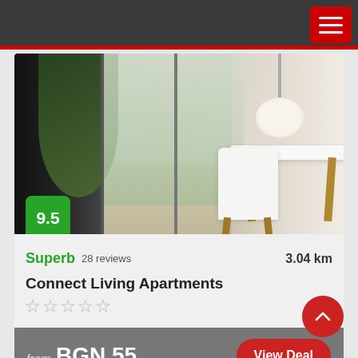Navigation bar with hamburger menu
[Figure (photo): Interior photo of a modern apartment dining area with large glass doors/windows, a white dining table and chairs with wooden legs, pendant lamp, sheer curtains, and green plants]
9.5
Superb  28 reviews  3.04 km
Connect Living Apartments
★★★★★ (empty stars)
from  BGN 55
View Deal